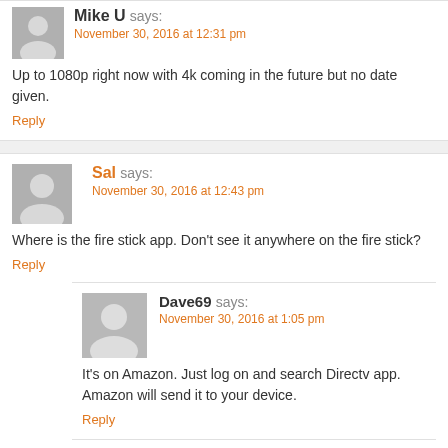Mike U says: November 30, 2016 at 12:31 pm
Up to 1080p right now with 4k coming in the future but no date given.
Reply
Sal says: November 30, 2016 at 12:43 pm
Where is the fire stick app. Don't see it anywhere on the fire stick?
Reply
Dave69 says: November 30, 2016 at 1:05 pm
It's on Amazon. Just log on and search Directv app. Amazon will send it to your device.
Reply